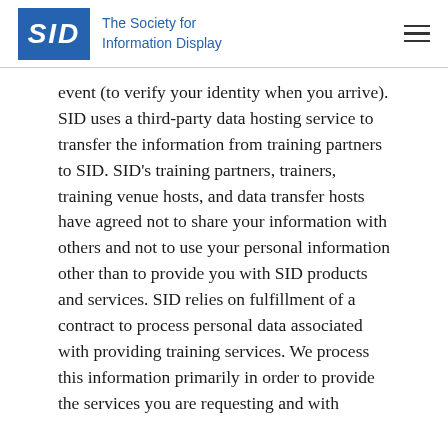SID The Society for Information Display
event (to verify your identity when you arrive). SID uses a third-party data hosting service to transfer the information from training partners to SID. SID's training partners, trainers, training venue hosts, and data transfer hosts have agreed not to share your information with others and not to use your personal information other than to provide you with SID products and services. SID relies on fulfillment of a contract to process personal data associated with providing training services. We process this information primarily in order to provide the services you are requesting and with